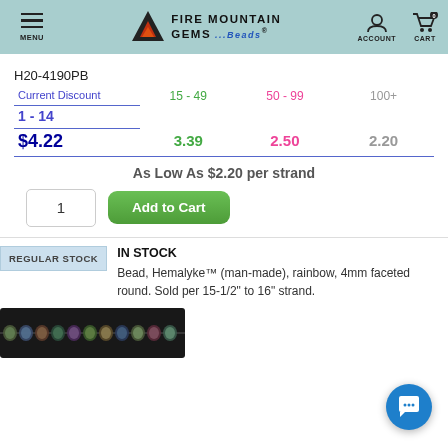[Figure (screenshot): Fire Mountain Gems and Beads website header with menu, logo, account and cart icons]
H20-4190PB
| Current Discount | 15 - 49 | 50 - 99 | 100+ |
| --- | --- | --- | --- |
| 1 - 14 | 15 - 49 | 50 - 99 | 100+ |
| $4.22 | 3.39 | 2.50 | 2.20 |
As Low As $2.20 per strand
REGULAR STOCK
IN STOCK
Bead, Hemalyke™ (man-made), rainbow, 4mm faceted round. Sold per 15-1/2" to 16" strand.